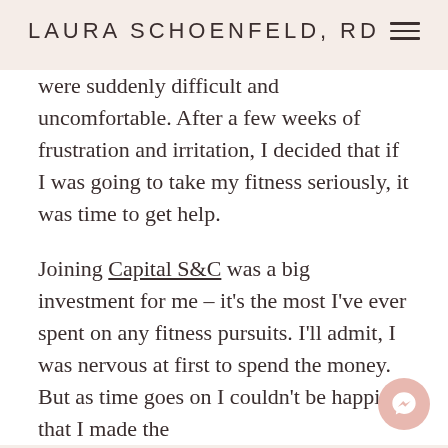LAURA SCHOENFELD, RD
were suddenly difficult and uncomfortable. After a few weeks of frustration and irritation, I decided that if I was going to take my fitness seriously, it was time to get help.
Joining Capital S&C was a big investment for me – it's the most I've ever spent on any fitness pursuits. I'll admit, I was nervous at first to spend the money. But as time goes on I couldn't be happier that I made the